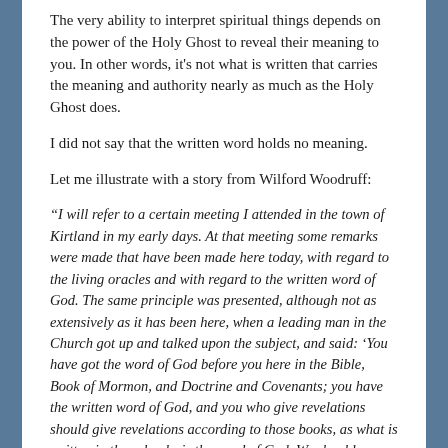The very ability to interpret spiritual things depends on the power of the Holy Ghost to reveal their meaning to you. In other words, it's not what is written that carries the meaning and authority nearly as much as the Holy Ghost does.
I did not say that the written word holds no meaning.
Let me illustrate with a story from Wilford Woodruff:
“I will refer to a certain meeting I attended in the town of Kirtland in my early days. At that meeting some remarks were made that have been made here today, with regard to the living oracles and with regard to the written word of God. The same principle was presented, although not as extensively as it has been here, when a leading man in the Church got up and talked upon the subject, and said: ‘You have got the word of God before you here in the Bible, Book of Mormon, and Doctrine and Covenants; you have the written word of God, and you who give revelations should give revelations according to those books, as what is written in those books is the word of God. We should confine ourselves to them.’ When he concluded, Brother Joseph turned to Brother Brigham Young and said, ‘Brother Brigham I want you to take the stand and tell us your views with regard to the written oracles and the written word of